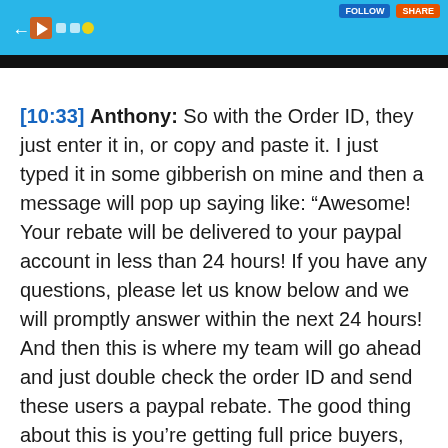[Figure (screenshot): Screenshot of a video player or web page banner with blue background, navigation icons on the left, and buttons on the top right. A black bar is at the bottom of the banner.]
[10:33] Anthony: So with the Order ID, they just enter it in, or copy and paste it. I just typed it in some gibberish on mine and then a message will pop up saying like: “Awesome! Your rebate will be delivered to your paypal account in less than 24 hours! If you have any questions, please let us know below and we will promptly answer within the next 24 hours! And then this is where my team will go ahead and just double check the order ID and send these users a paypal rebate. The good thing about this is you’re getting full price buyers, rebuilding your Manychat list. With a full price